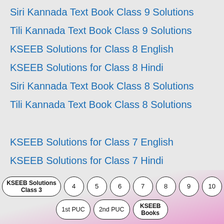Siri Kannada Text Book Class 9 Solutions
Tili Kannada Text Book Class 9 Solutions
KSEEB Solutions for Class 8 English
KSEEB Solutions for Class 8 Hindi
Siri Kannada Text Book Class 8 Solutions
Tili Kannada Text Book Class 8 Solutions
KSEEB Solutions for Class 7 English
KSEEB Solutions for Class 7 Hindi
Siri Kannada Text Book Class 7 Solutions
Tili Kannada Text Book Class 7 Solutions
KSEEB Solutions for Class 7 Physical Education
KSEEB Solutions Class 3 | 4 | 5 | 6 | 7 | 8 | 9 | 10 | 1st PUC | 2nd PUC | KSEEB Books